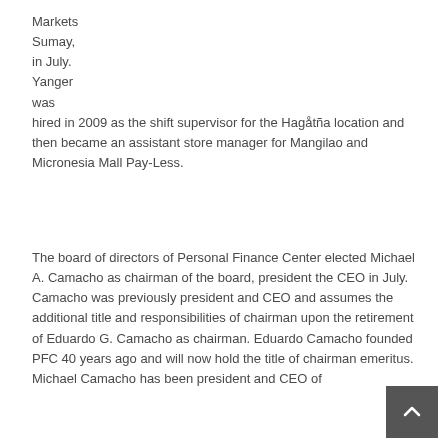Markets
Sumay,
in July.
Yanger
was
hired in 2009 as the shift supervisor for the Hagåtña location and then became an assistant store manager for Mangilao and Micronesia Mall Pay-Less.
The board of directors of Personal Finance Center elected Michael A. Camacho as chairman of the board, president the CEO in July. Camacho was previously president and CEO and assumes the additional title and responsibilities of chairman upon the retirement of Eduardo G. Camacho as chairman. Eduardo Camacho founded PFC 40 years ago and will now hold the title of chairman emeritus. Michael Camacho has been president and CEO of